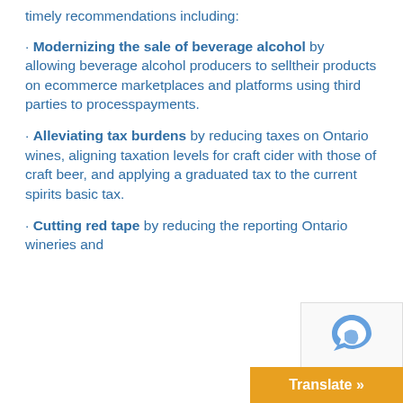timely recommendations including:
· Modernizing the sale of beverage alcohol by allowing beverage alcohol producers to selltheir products on ecommerce marketplaces and platforms using third parties to processpayments.
· Alleviating tax burdens by reducing taxes on Ontario wines, aligning taxation levels for craft cider with those of craft beer, and applying a graduated tax to the current spirits basic tax.
· Cutting red tape by reducing the reporting Ontario wineries and